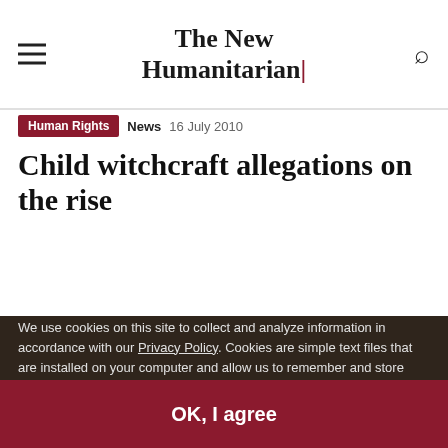The New Humanitarian
Human Rights  News  16 July 2010
Child witchcraft allegations on the rise
We use cookies on this site to collect and analyze information in accordance with our Privacy Policy. Cookies are simple text files that are installed on your computer and allow us to remember and store information about how you use the website, in order to enhance your user experience. Our Privacy Policy covers how we use data you may provide to us by visiting our website or registering as a subscriber. By continuing to use this website, you give your consent to our Privacy Policy and to our use of cookies.
OK, I agree